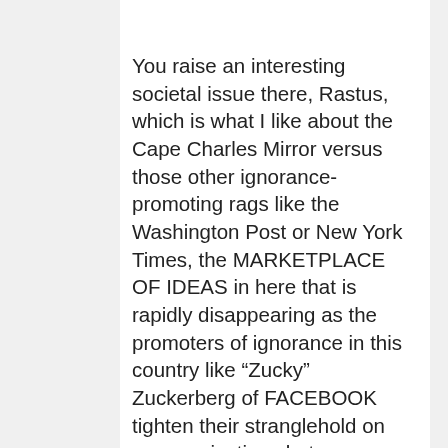You raise an interesting societal issue there, Rastus, which is what I like about the Cape Charles Mirror versus those other ignorance-promoting rags like the Washington Post or New York Times, the MARKETPLACE OF IDEAS in here that is rapidly disappearing as the promoters of ignorance in this country like “Zucky” Zuckerberg of FACEBOOK tighten their stranglehold on communications between American citizens who they want to keep stupid, because it makes them so much easier to indoctrinate, should the poor in America like myself who could not afford Maple Syrup or Sorghum Syrup have to go without?